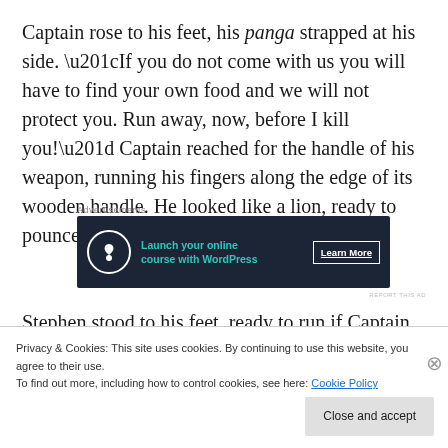Captain rose to his feet, his panga strapped at his side. “If you do not come with us you will have to find your own food and we will not protect you. Run away, now, before I kill you!” Captain reached for the handle of his weapon, running his fingers along the edge of its wooden handle. He looked like a lion, ready to pounce on its prey.
[Figure (other): Advertisement banner: dark background with tree/bonsai icon, text ‘Launch your online course with WordPress’ in teal, and ‘Learn More’ button]
Stephen stood to his feet, ready to run if Captain took a
Privacy & Cookies: This site uses cookies. By continuing to use this website, you agree to their use.
To find out more, including how to control cookies, see here: Cookie Policy